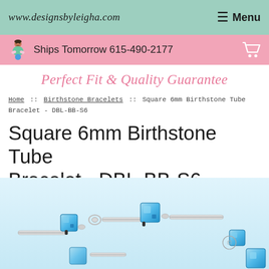www.designsbyleigha.com  ≡ Menu
Ships Tomorrow 615-490-2177
Perfect Fit & Quality Guarantee
Home :: Birthstone Bracelets :: Square 6mm Birthstone Tube Bracelet - DBL-BB-S6
Square 6mm Birthstone Tube Bracelet - DBL-BB-S6
[Figure (photo): Close-up photo of a silver birthstone bracelet with blue square crystal beads and silver tube spacers on a light blue background.]